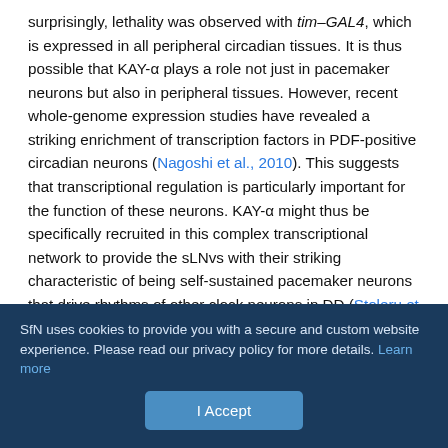surprisingly, lethality was observed with tim–GAL4, which is expressed in all peripheral circadian tissues. It is thus possible that KAY-α plays a role not just in pacemaker neurons but also in peripheral tissues. However, recent whole-genome expression studies have revealed a striking enrichment of transcription factors in PDF-positive circadian neurons (Nagoshi et al., 2010). This suggests that transcriptional regulation is particularly important for the function of these neurons. KAY-α might thus be specifically recruited in this complex transcriptional network to provide the sLNvs with their striking characteristic of being self-sustained pacemaker neurons that drive rhythms of other clock neurons in DD (Stoleru et al., 2005). By affecting both transcriptional loops, KAY-α might bring stability to the circadian pacemaker, particularly if it proved to be
SfN uses cookies to provide you with a secure and custom website experience. Please read our privacy policy for more details. Learn more